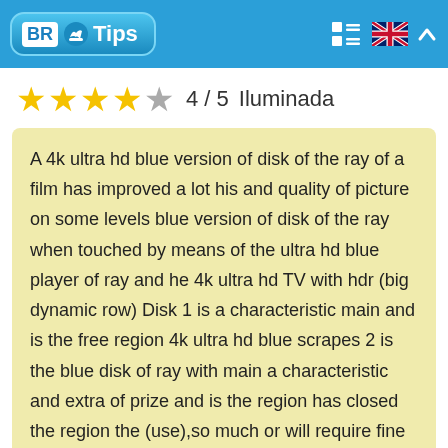BR Tips
★★★★☆ 4 / 5  Iluminada
A 4k ultra hd blue version of disk of the ray of a film has improved a lot his and quality of picture on some levels blue version of disk of the ray when touched by means of the ultra hd blue player of ray and he 4k ultra hd TV with hdr (big dynamic row) Disk 1 is a characteristic main and is the free region 4k ultra hd blue scrapes 2 is the blue disk of ray with main a characteristic and extra of prize and is the region has closed the region the (use),so much or will require fine it blue